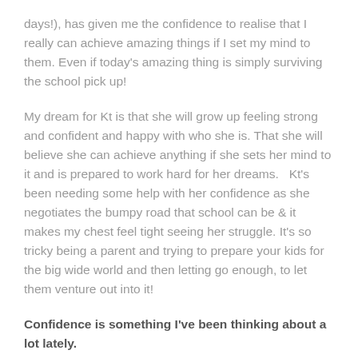days!), has given me the confidence to realise that I really can achieve amazing things if I set my mind to them.  Even if today's amazing thing is simply surviving the school pick up!
My dream for Kt is that she will grow up feeling strong and confident and happy with who she is.  That she will believe she can achieve anything if she sets her mind to it and is prepared to work hard for her dreams.   Kt's been needing some help with her confidence as she negotiates the bumpy road that school can be & it makes my chest feel tight seeing her struggle.  It's so tricky being a parent and trying to prepare your kids for the big wide world and then letting go enough, to let them venture out into it!
Confidence is something I've been thinking about a lot lately.